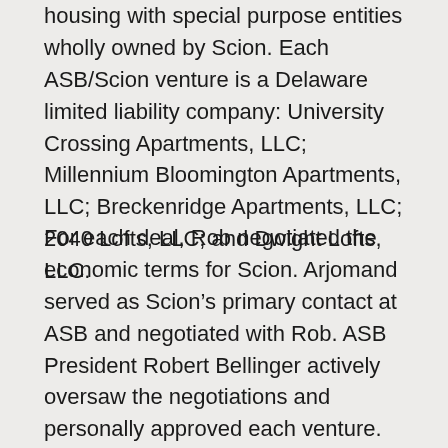housing with special purpose entities wholly owned by Scion. Each ASB/Scion venture is a Delaware limited liability company: University Crossing Apartments, LLC; Millennium Bloomington Apartments, LLC; Breckenridge Apartments, LLC; 2040 Lofts, LLC; and Dwight Lofts, LLC.
For each deal, Rob negotiated the economic terms for Scion. Arjomand served as Scion's primary contact at ASB and negotiated with Rob. ASB President Robert Bellinger actively oversaw the negotiations and personally approved each venture. The joint ventures were subject to further approval by ASB's Real Estate Investment Advisory Committee (the “Investment Committee”). When evaluating a given investment, the Investment Committee did not review actual